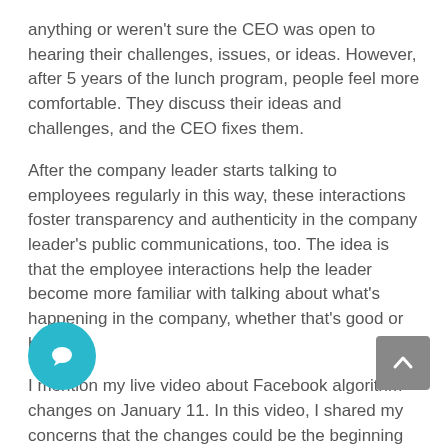anything or weren't sure the CEO was open to hearing their challenges, issues, or ideas. However, after 5 years of the lunch program, people feel more comfortable. They discuss their ideas and challenges, and the CEO fixes them.
After the company leader starts talking to employees regularly in this way, these interactions foster transparency and authenticity in the company leader's public communications, too. The idea is that the employee interactions help the leader become more familiar with talking about what's happening in the company, whether that's good or bad.
I mention my live video about Facebook algorithm changes on January 11. In this video, I shared my concerns that the changes could be the beginning of the end for exposure in news feed. Although some critics thought I was fear-mongering, most people appreciated hearing from me because they respected the company.